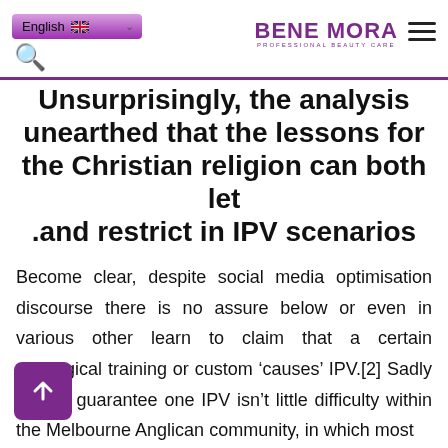English | BENE MORA PROFESSIONAL BEAUTY CARE
Unsurprisingly, the analysis unearthed that the lessons for the Christian religion can both let and restrict in IPV scenarios.
Become clear, despite social media optimisation discourse there is no assure below or even in various other learn to claim that a certain theological training or custom ‘causes’ IPV.[2] Sadly i could guarantee one IPV isn’t little difficulty within the Melbourne Anglican community, in which most